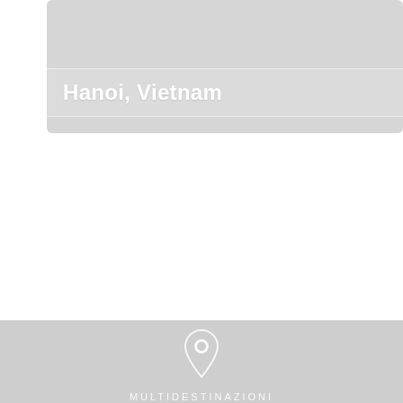[Figure (illustration): Gray card placeholder image for Hanoi, Vietnam travel destination]
Hanoi, Vietnam
[Figure (infographic): Gray banner with location pin icon, MULTIDESTINAZIONI label, THE TRIP OF YOUR DREAMS heading, and a Create your trip CTA button]
MULTIDESTINAZIONI
THE TRIP OF YOUR DREAMS
Create your trip